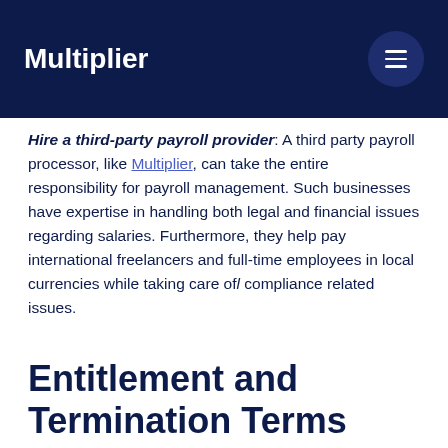Multiplier
Hire a third-party payroll provider: A third party payroll processor, like Multiplier, can take the entire responsibility for payroll management. Such businesses have expertise in handling both legal and financial issues regarding salaries. Furthermore, they help pay international freelancers and full-time employees in local currencies while taking care of compliance related issues.
Entitlement and Termination Terms